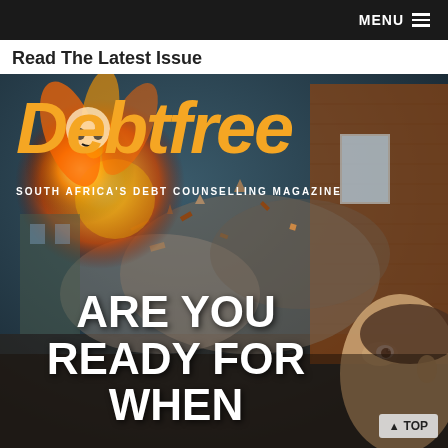MENU
Read The Latest Issue
[Figure (illustration): Debtfree magazine cover showing an explosion/destruction scene with orange 'Debtfree' title text, subtitle 'SOUTH AFRICA'S DEBT COUNSELLING MAGAZINE', and bold white headline text 'ARE YOU READY FOR WHEN']